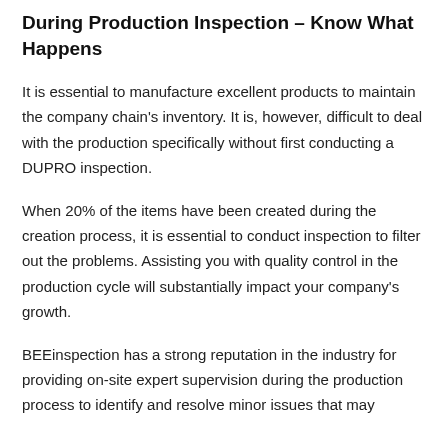During Production Inspection – Know What Happens
It is essential to manufacture excellent products to maintain the company chain's inventory. It is, however, difficult to deal with the production specifically without first conducting a DUPRO inspection.
When 20% of the items have been created during the creation process, it is essential to conduct inspection to filter out the problems. Assisting you with quality control in the production cycle will substantially impact your company's growth.
BEEinspection has a strong reputation in the industry for providing on-site expert supervision during the production process to identify and resolve minor issues that may